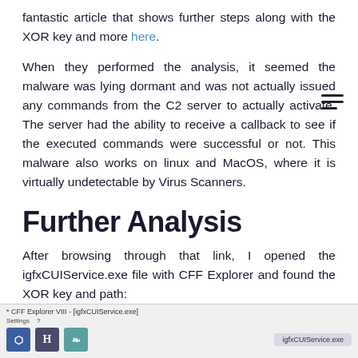fantastic article that shows further steps along with the XOR key and more here.
When they performed the analysis, it seemed the malware was lying dormant and was not actually issued any commands from the C2 server to actually activate. The server had the ability to receive a callback to see if the executed commands were successful or not. This malware also works on linux and MacOS, where it is virtually undetectable by Virus Scanners.
Further Analysis
After browsing through that link, I opened the igfxCUIService.exe file with CFF Explorer and found the XOR key and path:
[Figure (screenshot): Screenshot of CFF Explorer VIII with igfxCUIService.exe open, showing title bar, Settings menu, and toolbar icons with a tab labeled igfxCUIService.exe]